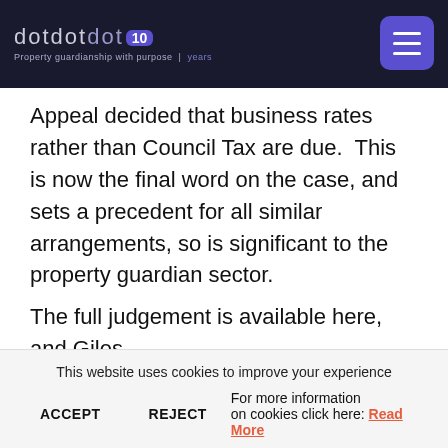dotdotdot 10 — Property guardianship with purpose | years
Appeal decided that business rates rather than Council Tax are due.  This is now the final word on the case, and sets a precedent for all similar arrangements, so is significant to the property guardian sector.
The full judgement is available here, and Giles
This website uses cookies to improve your experience
ACCEPT   REJECT   For more information on cookies click here: Read More